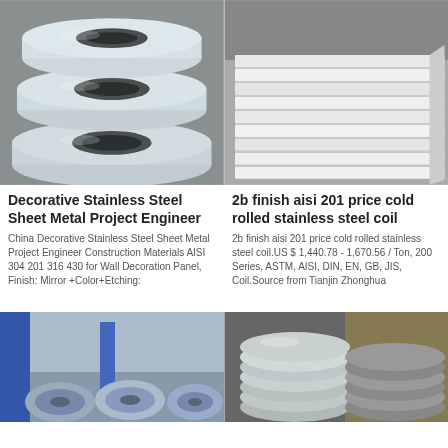[Figure (photo): Stainless steel tubes/pipes stacked together, shiny metallic surface]
[Figure (photo): White-coated angle steel or sheet metal pieces stacked in rows]
Decorative Stainless Steel Sheet Metal Project Engineer
China Decorative Stainless Steel Sheet Metal Project Engineer Construction Materials AISI 304 201 316 430 for Wall Decoration Panel, Finish: Mirror +Color+Etching:
2b finish aisi 201 price cold rolled stainless steel coil
2b finish aisi 201 price cold rolled stainless steel coil.US $ 1,440.78 - 1,670.56 / Ton, 200 Series, ASTM, AISI, DIN, EN, GB, JIS, Coil.Source from Tianjin Zhonghua
[Figure (photo): Steel coils stored in a warehouse with blue structures in background]
[Figure (photo): Stacked circular stainless steel discs/blanks, shiny metallic finish]